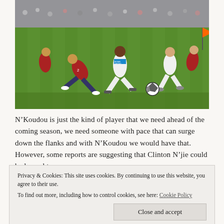[Figure (photo): Football/soccer match photo showing players in white Marseille kits and red/dark Lille kits competing for the ball on a green pitch]
N’Koudou is just the kind of player that we need ahead of the coming season, we need someone with pace that can surge down the flanks and with N’Koudou we would have that. However, some reports are suggesting that Clinton N’jie could be loaned to
Privacy & Cookies: This site uses cookies. By continuing to use this website, you agree to their use.
To find out more, including how to control cookies, see here: Cookie Policy
Close and accept
Vincent Janssen already completed Pochettino will be looking to